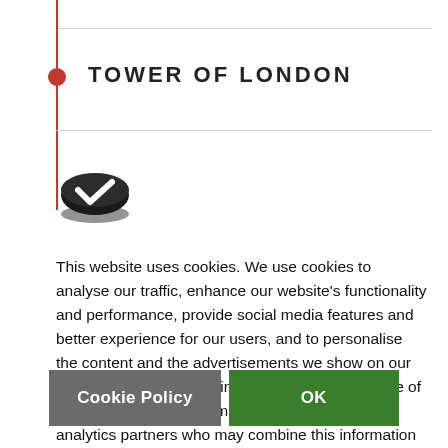TOWER OF LONDON
[Figure (logo): Cookie/checkmark icon — black disc with white check mark, stacked layered coin-like shape]
This website uses cookies. We use cookies to analyse our traffic, enhance our website's functionality and performance, provide social media features and better experience for our users, and to personalise the content and the advertisements we show on our website. We also share information about your use of our website with social media, advertising and analytics partners who may combine this information with other information you have provided to them or that they have collected from your use of their services.
Cookie Policy
OK